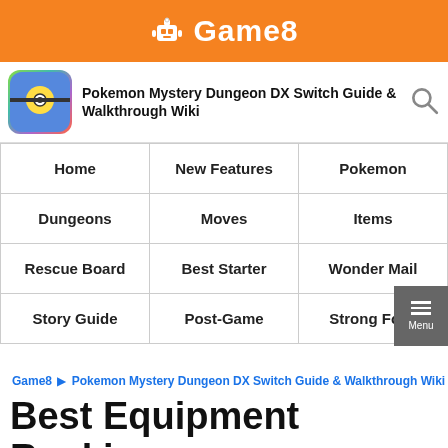Game8
Pokemon Mystery Dungeon DX Switch Guide & Walkthrough Wiki
| Home | New Features | Pokemon |
| --- | --- | --- |
| Dungeons | Moves | Items |
| Rescue Board | Best Starter | Wonder Mail |
| Story Guide | Post-Game | Strong Foes |
Game8 › Pokemon Mystery Dungeon DX Switch Guide & Walkthrough Wiki
Best Equipment Ranking